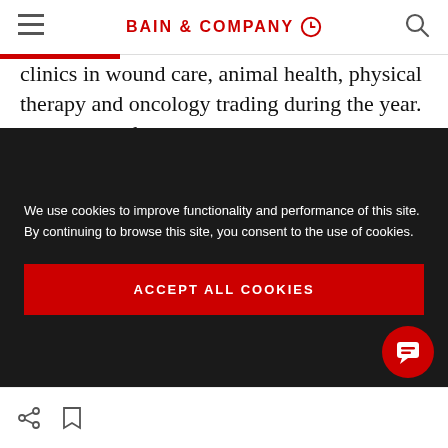BAIN & COMPANY
clinics in wound care, animal health, physical therapy and oncology trading during the year. Highlights of these themes include Clayton Dubilier & Rice's (CD&R) $910 million purchase of Healogics, which operates roughly one-third of all wound care centers in the US; Ares Management's approximately $900 million
We use cookies to improve functionality and performance of this site. By continuing to browse this site, you consent to the use of cookies.
ACCEPT ALL COOKIES